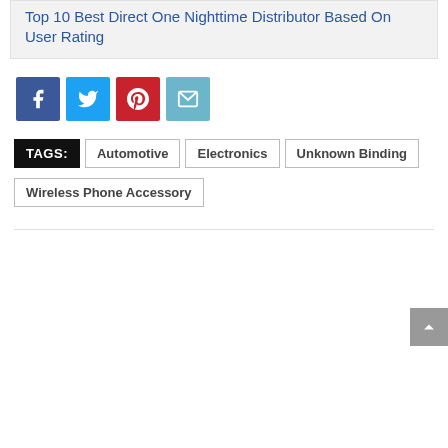Top 10 Best Direct One Nighttime Distributor Based On User Rating
[Figure (other): Social share buttons: Facebook (blue), Twitter (light blue), Pinterest (red), Email (teal)]
TAGS: Automotive  Electronics  Unknown Binding  Wireless Phone Accessory